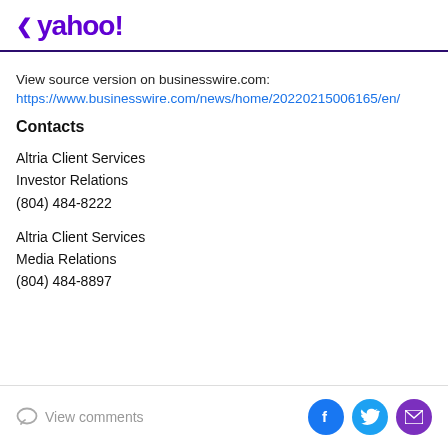< yahoo!
View source version on businesswire.com:
https://www.businesswire.com/news/home/20220215006165/en/
Contacts
Altria Client Services
Investor Relations
(804) 484-8222
Altria Client Services
Media Relations
(804) 484-8897
View comments